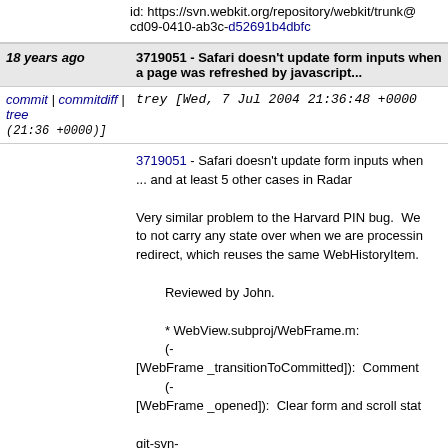id: https://svn.webkit.org/repository/webkit/trunk@cd09-0410-ab3c-d52691b4dbfc
18 years ago  3719051 - Safari doesn't update form inputs when a page was refreshed by javascript...
commit | commitdiff | tree  trey [Wed, 7 Jul 2004 21:36:48 +0000 (21:36 +0000)]
3719051 - Safari doesn't update form inputs when ... and at least 5 other cases in Radar

Very similar problem to the Harvard PIN bug. We to not carry any state over when we are processing redirect, which reuses the same WebHistoryItem.

Reviewed by John.

* WebView.subproj/WebFrame.m:
        (-[WebFrame _transitionToCommitted]):  Comment
        (-[WebFrame _opened]):  Clear form and scroll state

git-svn-id: https://svn.webkit.org/repository/webkit/trunk@cd09-0410-ab3c-d52691b4dbfc
18 years ago  Reviewed by Hyatt